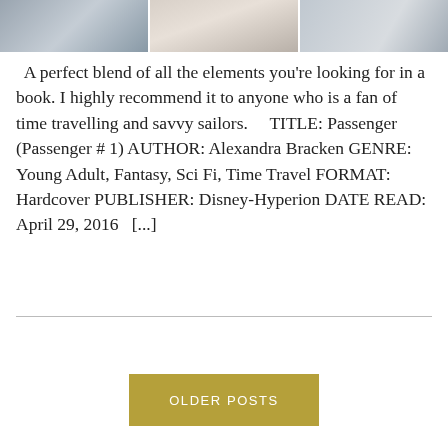[Figure (photo): Collage of three photographs arranged horizontally: left shows a snowy/icy scene, middle shows a light fabric or clothing item, right shows ocean water.]
A perfect blend of all the elements you're looking for in a book. I highly recommend it to anyone who is a fan of time travelling and savvy sailors.    TITLE: Passenger (Passenger # 1) AUTHOR: Alexandra Bracken GENRE: Young Adult, Fantasy, Sci Fi, Time Travel FORMAT: Hardcover PUBLISHER: Disney-Hyperion DATE READ: April 29, 2016   [...]
OLDER POSTS